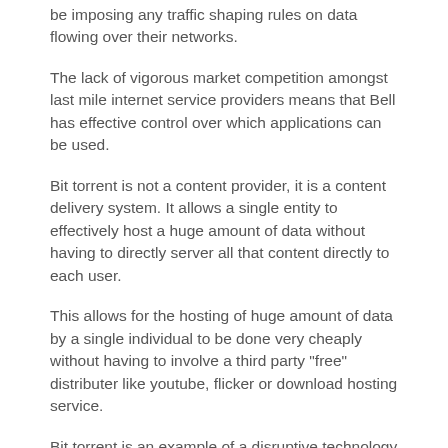be imposing any traffic shaping rules on data flowing over their networks.
The lack of vigorous market competition amongst last mile internet service providers means that Bell has effective control over which applications can be used.
Bit torrent is not a content provider, it is a content delivery system. It allows a single entity to effectively host a huge amount of data without having to directly server all that content directly to each user.
This allows for the hosting of huge amount of data by a single individual to be done very cheaply without having to involve a third party "free" distributer like youtube, flicker or download hosting service.
Bit torrent is an example of a disruptive technology that can change the balance of power